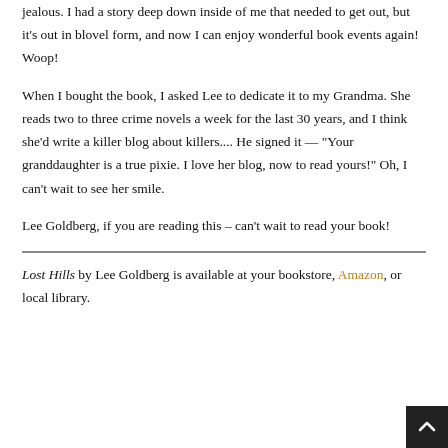jealous. I had a story deep down inside of me that needed to get out, but it's out in blovel form, and now I can enjoy wonderful book events again! Woop!
When I bought the book, I asked Lee to dedicate it to my Grandma. She reads two to three crime novels a week for the last 30 years, and I think she'd write a killer blog about killers.... He signed it — "Your granddaughter is a true pixie. I love her blog, now to read yours!" Oh, I can't wait to see her smile.
Lee Goldberg, if you are reading this – can't wait to read your book!
Lost Hills by Lee Goldberg is available at your bookstore, Amazon, or local library.